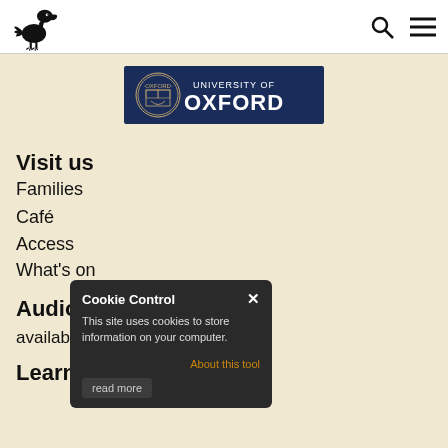Navigation bar with dodo logo, search icon, and menu icon
[Figure (logo): University of Oxford logo — navy blue banner with Oxford crest and text 'UNIVERSITY OF OXFORD']
Visit us
Families
Café
Access
What's on
Audio Guide
available in nine languages
Learn
Cookie Control — This site uses cookies to store information on your computer. About this tool. read more